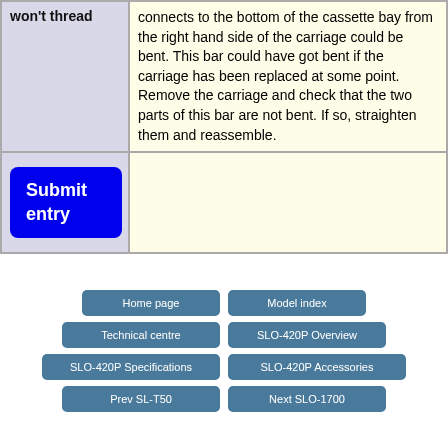| Problem | Solution |
| --- | --- |
| won't thread | connects to the bottom of the cassette bay from the right hand side of the carriage could be bent. This bar could have got bent if the carriage has been replaced at some point. Remove the carriage and check that the two parts of this bar are not bent. If so, straighten them and reassemble. |
| Submit entry |  |
Home page
Model index
Technical centre
SLO-420P Overview
SLO-420P Specifications
SLO-420P Accessories
Prev SL-T50
Next SLO-1700